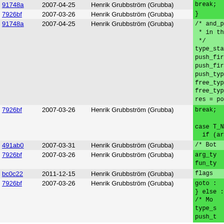| hash | date | author | code |
| --- | --- | --- | --- |
| 91748a | 2007-04-25 | Henrik Grubbström (Grubba) | break; |
| 7926bf | 2007-03-26 | Henrik Grubbström (Grubba) | } |
| 91748a | 2007-04-25 | Henrik Grubbström (Grubba) | /* and_p
 * in t
 */
type_st
push_fi
push_fi
push_ty
free_ty
free_ty
res = p |
| 7926bf | 2007-03-26 | Henrik Grubbström (Grubba) | break;

case T_NO
  if (arg |
| 491ab0 | 2007-03-31 | Henrik Grubbström (Grubba) | /* Bot |
| 7926bf | 2007-03-26 | Henrik Grubbström (Grubba) | arg_ty
fun_ty |
| bc0c22 | 2011-12-15 | Henrik Grubbström (Grubba) | flags |
| 7926bf | 2007-03-26 | Henrik Grubbström (Grubba) | goto :
} else 
/* Mo
type_s
push_t |